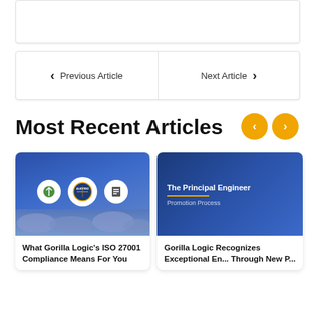[Figure (screenshot): White empty box at top of page]
< Previous Article    Next Article >
Most Recent Articles
[Figure (screenshot): Article card image: What Gorilla Logic's ISO 27001 Compliance Means For You - blue background with security icons]
What Gorilla Logic's ISO 27001 Compliance Means For You
[Figure (screenshot): Article card image: Gorilla Logic Recognizes Exceptional Engineers Through New Process - blue background with The Principal Engineer Promotion Process text]
Gorilla Logic Recognizes Exceptional Engineers Through New Process